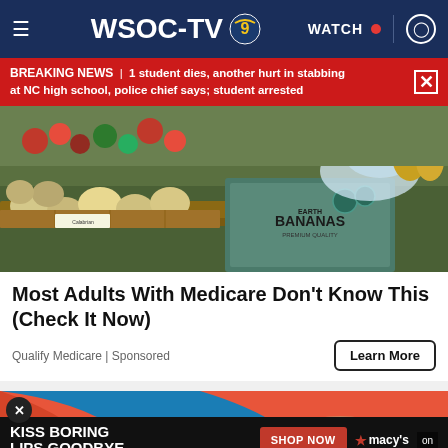WSOC-TV
BREAKING NEWS | 1 student dies, another hurt in stabbing at NC high school, police chief says; student arrested
[Figure (photo): Grocery store produce section showing fruits including melons and bananas, with a cardboard box labeled 'Earth Bananas Premium Quality']
Most Adults With Medicare Don't Know This (Check It Now)
Qualify Medicare | Sponsored
[Figure (photo): Advertisement showing a woman in orange/red with her face partially covered, with text 'KISS BORING LIPS GOODBYE' and 'SHOP NOW' button with Macy's branding at the bottom]